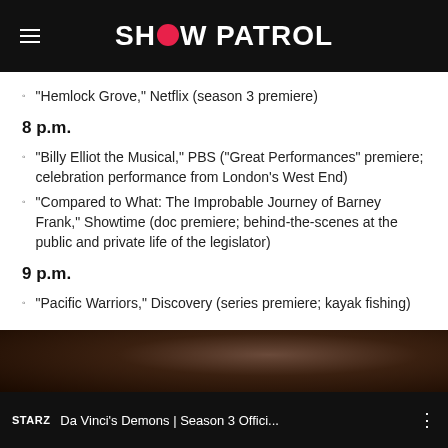SHOW PATROL
“Hemlock Grove,” Netflix (season 3 premiere)
8 p.m.
“Billy Elliot the Musical,” PBS (“Great Performances” premiere; celebration performance from London’s West End)
“Compared to What: The Improbable Journey of Barney Frank,” Showtime (doc premiere; behind-the-scenes at the public and private life of the legislator)
9 p.m.
“Pacific Warriors,” Discovery (series premiere; kayak fishing)
[Figure (screenshot): Video thumbnail showing STARZ logo and title: Da Vinci’s Demons | Season 3 Offici...]